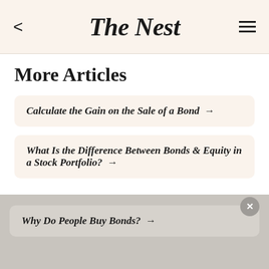The Nest
More Articles
Calculate the Gain on the Sale of a Bond →
What Is the Difference Between Bonds & Equity in a Stock Portfolio? →
Why Do People Buy Bonds? →